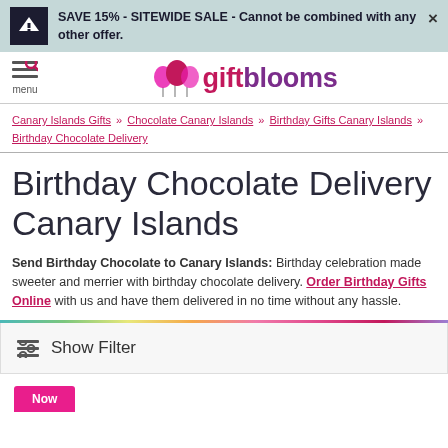SAVE 15% - SITEWIDE SALE - Cannot be combined with any other offer.
[Figure (logo): GiftBlooms logo with pink and purple balloon decorations and stylized text 'giftblooms']
Canary Islands Gifts » Chocolate Canary Islands » Birthday Gifts Canary Islands » Birthday Chocolate Delivery
Birthday Chocolate Delivery Canary Islands
Send Birthday Chocolate to Canary Islands: Birthday celebration made sweeter and merrier with birthday chocolate delivery. Order Birthday Gifts Online with us and have them delivered in no time without any hassle.
Show Filter